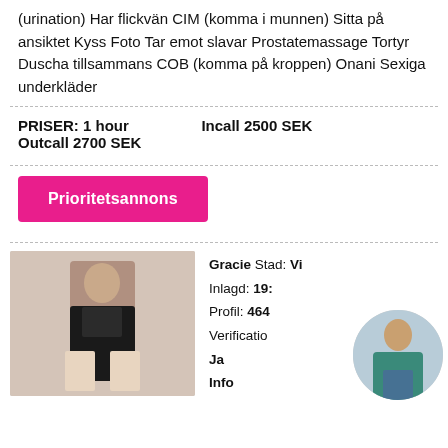(urination) Har flickvän CIM (komma i munnen) Sitta på ansiktet Kyss Foto Tar emot slavar Prostatemassage Tortyr Duscha tillsammans COB (komma på kroppen) Onani Sexiga underkläder
PRISER: 1 hour  Incall 2500 SEK
Outcall 2700 SEK
Prioritetsannons
Gracie Stad: Vi[...]
Inlagd: 19:[...]
Profil: 464[...]
Verification[...]
Ja
Info